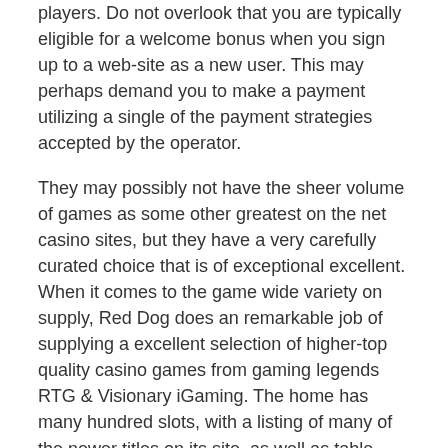players. Do not overlook that you are typically eligible for a welcome bonus when you sign up to a web-site as a new user. This may perhaps demand you to make a payment utilizing a single of the payment strategies accepted by the operator.
They may possibly not have the sheer volume of games as some other greatest on the net casino sites, but they have a very carefully curated choice that is of exceptional excellent. When it comes to the game wide variety on supply, Red Dog does an remarkable job of supplying a excellent selection of higher-top quality casino games from gaming legends RTG & Visionary iGaming. The home has many hundred slots, with a listing of many of the newer titles on its site, as well as table games and reside bingo during particular hours. The table games look to consist of a ton of Blackjack as properly as High Card Flush, Craps, Ultimate Texas Hold 'Em, EZ Pai-Gow, Let it Ride, Baccarat, Mississippi Stud, Roulette and 3-Card Poker. If you don't want to play on an on the web casino out to scam you, you need to check its license. A license from a gaming authority is proof that the casinos' operations are legitimate and secure to play on.
Being born biracial, Davilyn grew up in a community that was predominantly white and suffered school bullying due to other people seeing her as 'different'. She wants to make certain she sends a good